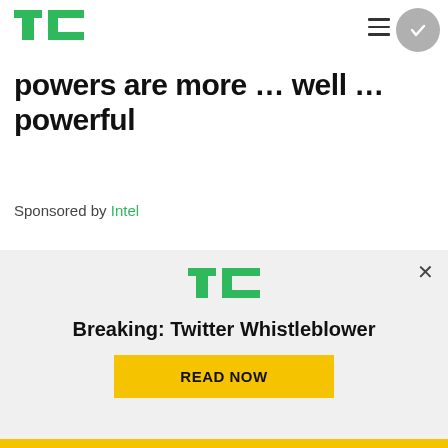TechCrunch
powers are more … well … powerful
Sponsored by Intel
[Figure (logo): TechCrunch TC logo in green on light gray notification panel]
Breaking: Twitter Whistleblower
READ NOW